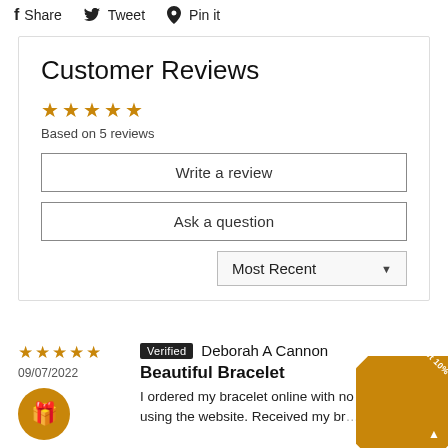Share  Tweet  Pin it
Customer Reviews
★★★★★ Based on 5 reviews
Write a review
Ask a question
Most Recent
Verified Deborah A Cannon
Beautiful Bracelet
I ordered my bracelet online with no problems using the website. Received my br...